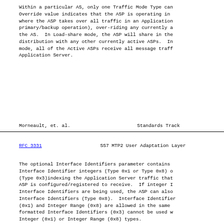Within a particular AS, only one Traffic Mode Type can be active. Override value indicates that the ASP is operating in Override mode, where the ASP takes over all traffic in an Application Server (like primary/backup operation), over-riding any currently active ASPs in the AS.  In Load-share mode, the ASP will share in the traffic distribution with any other currently active ASPs.  In Broadcast mode, all of the Active ASPs receive all message traffic from the Application Server.
Morneault, et. al.          Standards Track
RFC 3331                SS7 MTP2 User Adaptation Layer
The optional Interface Identifiers parameter contains one or more Interface Identifier integers (Type 0x1 or Type 0x8) or text strings (Type 0x3)indexing the Application Server traffic that the ASP is configured/registered to receive.  If integer Interface Identifiers are being used, the ASP can also use ranged Interface Identifiers (Type 0x8).  Interface Identifier Integer (0x1) and Integer Range (0x8) are allowed in the same message. Text formatted Interface Identifiers (0x3) cannot be used with Integer (0x1) or Integer Range (0x8) types.